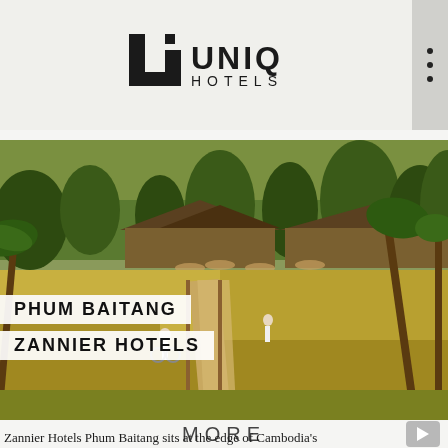[Figure (logo): UNIQ Hotels logo with a bold U icon and stacked UNIQ / HOTELS text]
[Figure (photo): Aerial/ground-level photo of Zannier Hotels Phum Baitang resort in Cambodia, showing rice paddies, a long wooden walkway, tropical palms, and open-air pavilion structures with thatched roofs. Two figures on the path.]
PHUM BAITANG
ZANNIER HOTELS
MORE
Zannier Hotels Phum Baitang sits at the edge of Cambodia's